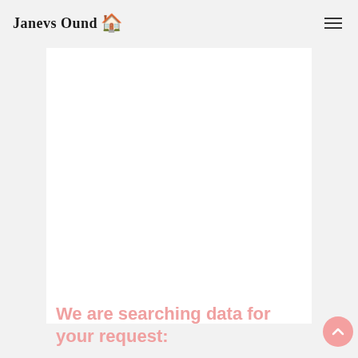Janevs Ound 🏠
[Figure (other): Large white rectangular content area, mostly blank/empty, serving as main page content region]
We are searching data for your request: